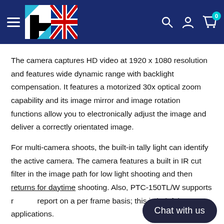Navigation header with logo (UK flag/puzzle design), hamburger menu, search, account, and cart icons
The camera captures HD video at 1920 x 1080 resolution and features wide dynamic range with backlight compensation. It features a motorized 30x optical zoom capability and its image mirror and image rotation functions allow you to electronically adjust the image and deliver a correctly orientated image.
For multi-camera shoots, the built-in tally light can identify the active camera. The camera features a built in IR cut filter in the image path for low light shooting and then returns for daytime shooting. Also, PTC-150TL/W supports r... report on a per frame basis; this is helpful ... applications.